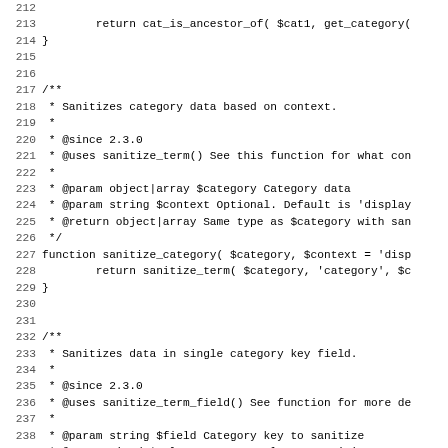Source code listing lines 212-243 showing PHP functions sanitize_category and sanitize_category_key with PHPDoc comments